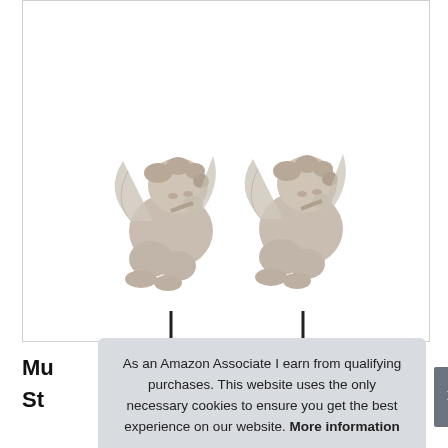[Figure (photo): Two cherub angel garden stake figurines with wings, sitting with heads resting on hands, on thin black metal stakes. Stone/resin finish in gray-white color. Shown against white background inside a bordered product image box.]
Mu
St
As an Amazon Associate I earn from qualifying purchases. This website uses the only necessary cookies to ensure you get the best experience on our website. More information